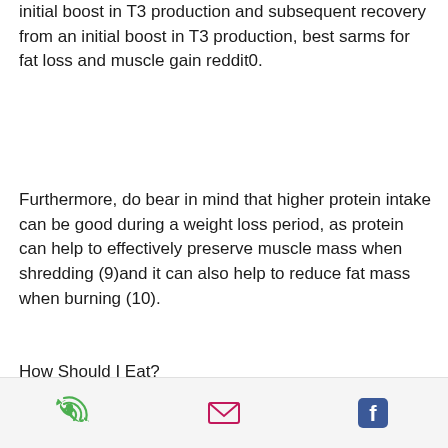initial boost in T3 production and subsequent recovery from an initial boost in T3 production, best sarms for fat loss and muscle gain reddit0.
Furthermore, do bear in mind that higher protein intake can be good during a weight loss period, as protein can help to effectively preserve muscle mass when shredding (9)and it can also help to reduce fat mass when burning (10).
How Should I Eat?
There's no one way for you to eat when you're looking to lose fat and improve overall health, so it's important to eat with the right
phone | email | facebook